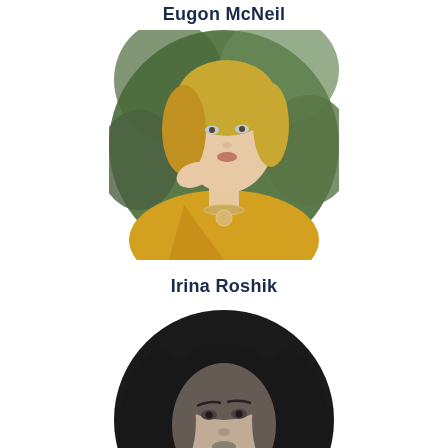Eugon McNeil
[Figure (photo): Circular portrait photo of a blonde woman wearing a yellow satin dress and jeweled necklace, posed against green foliage background, in full color.]
Irina Roshik
[Figure (photo): Circular portrait photo of a dark-haired woman with long straight hair, in black and white, cropped at bottom of frame.]